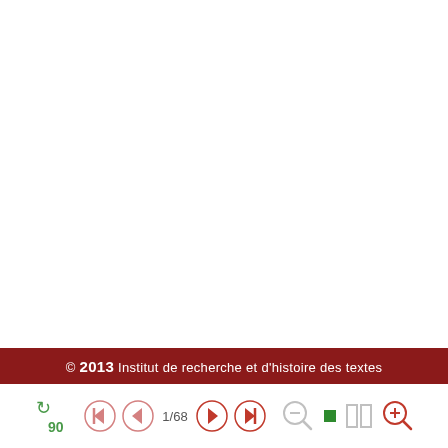© 2013 Institut de recherche et d'histoire des textes
[Figure (screenshot): Navigation toolbar with rotate (90), previous/next page buttons, page indicator 1/68, play/skip controls, and zoom controls with a green square indicator]